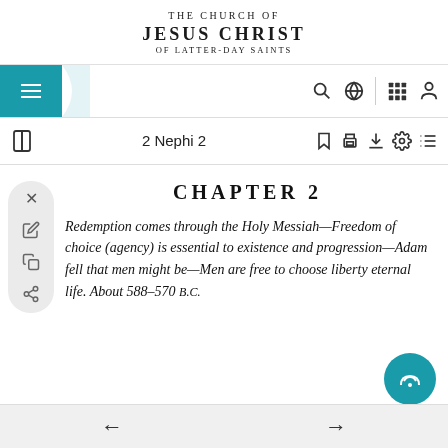THE CHURCH OF JESUS CHRIST OF LATTER-DAY SAINTS
2 Nephi 2
CHAPTER 2
Redemption comes through the Holy Messiah—Freedom of choice (agency) is essential to existence and progression—Adam fell that men might be—Men are free to choose liberty eternal life. About 588–570 B.C.